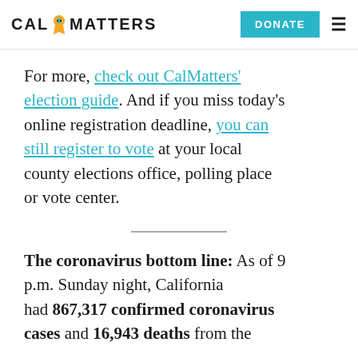CalMatters — DONATE [hamburger menu]
For more, check out CalMatters' election guide. And if you miss today's online registration deadline, you can still register to vote at your local county elections office, polling place or vote center.
The coronavirus bottom line: As of 9 p.m. Sunday night, California had 867,317 confirmed coronavirus cases and 16,943 deaths from the